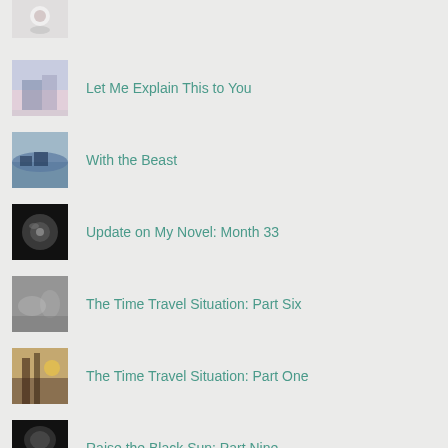(partial top entry)
Let Me Explain This to You
With the Beast
Update on My Novel: Month 33
The Time Travel Situation: Part Six
The Time Travel Situation: Part One
Raise the Black Sun: Part Nine